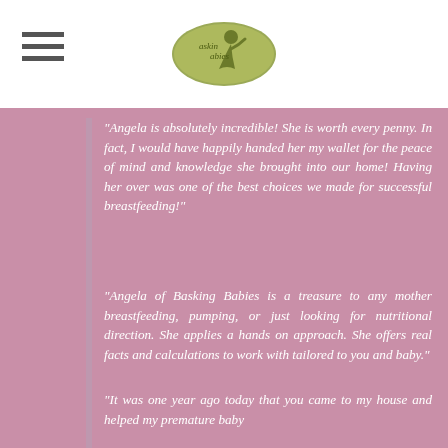Basking Babies
"Angela is absolutely incredible! She is worth every penny. In fact, I would have happily handed her my wallet for the peace of mind and knowledge she brought into our home! Having her over was one of the best choices we made for successful breastfeeding!"
"Angela of Basking Babies is a treasure to any mother breastfeeding, pumping, or just looking for nutritional direction. She applies a hands on approach. She offers real facts and calculations to work with tailored to you and baby."
"It was one year ago today that you came to my house and helped my premature baby